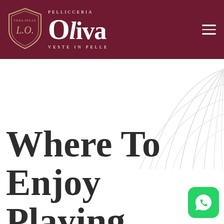PELLICCERIA Oliva VESTE IN PELLE
[Figure (illustration): Decorative concentric arc lines in light gray forming a pattern in the upper right portion of the page background]
Where To Enjoy Playing
[Figure (logo): WhatsApp icon button — green rounded square with white phone/chat icon]